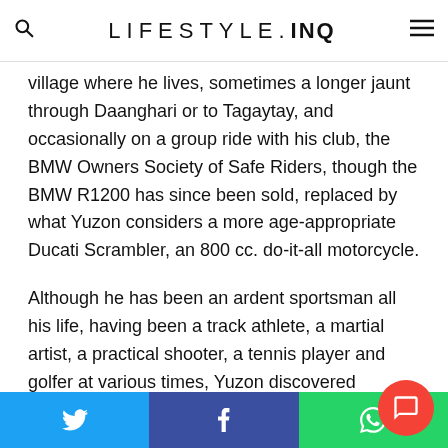LIFESTYLE.INQ
village where he lives, sometimes a longer jaunt through Daanghari or to Tagaytay, and occasionally on a group ride with his club, the BMW Owners Society of Safe Riders, though the BMW R1200 has since been sold, replaced by what Yuzon considers a more age-appropriate Ducati Scrambler, an 800 cc. do-it-all motorcycle.
Although he has been an ardent sportsman all his life, having been a track athlete, a martial artist, a practical shooter, a tennis player and golfer at various times, Yuzon discovered motorcycling fairly recently.